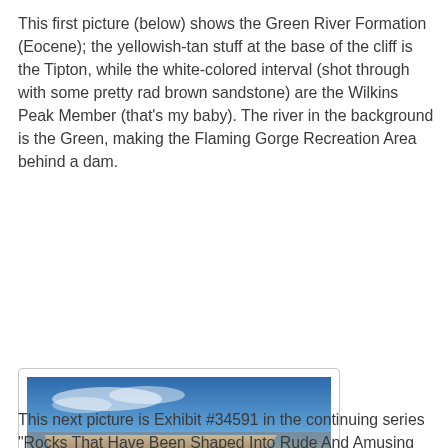This first picture (below) shows the Green River Formation (Eocene); the yellowish-tan stuff at the base of the cliff is the Tipton, while the white-colored interval (shot through with some pretty rad brown sandstone) are the Wilkins Peak Member (that's my baby). The river in the background is the Green, making the Flaming Gorge Recreation Area behind a dam.
[Figure (photo): Landscape photograph showing the Green River Formation (Eocene). Yellowish-tan sedimentary rock layers at the base of a cliff (Tipton), white-colored interval with brown sandstone (Wilkins Peak Member). Blue sky with light clouds, mesa landform, river visible in background left, arid scrubby foreground with ravine patterns.]
This next picture is Exhibit #34591 in the continuing series "Rocks That Have Been Shaped Into Rude And Amusing